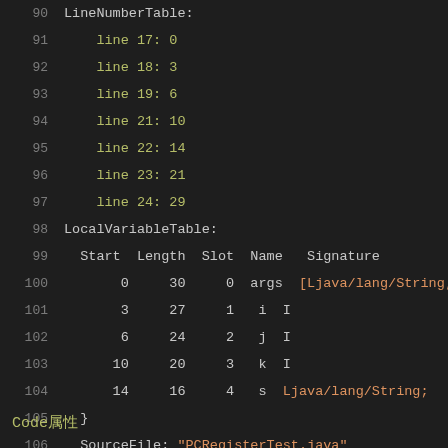90  LineNumberTable:
91    line 17: 0
92    line 18: 3
93    line 19: 6
94    line 21: 10
95    line 22: 14
96    line 23: 21
97    line 24: 29
98  LocalVariableTable:
99    Start  Length  Slot  Name   Signature
100       0      30     0  args   [Ljava/lang/String;
101       3      27     1  i  I
102       6      24     2  j  I
103      10      20     3  k  I
104      14      16     4  s  Ljava/lang/String;
105  }
106  SourceFile: "PCRegisterTest.java"
Code属性